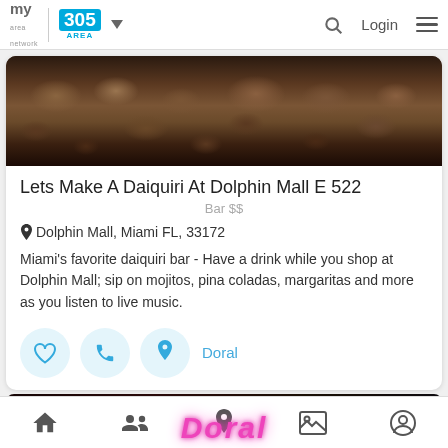myarea network | 305 AREA | Login
[Figure (photo): Crowded bar/restaurant interior with many people]
Lets Make A Daiquiri At Dolphin Mall E 522
Bar $$
Dolphin Mall, Miami FL, 33172
Miami's favorite daiquiri bar - Have a drink while you shop at Dolphin Mall; sip on mojitos, pina coladas, margaritas and more as you listen to live music.
Doral
[Figure (photo): Dark bar interior with neon pink Doral sign]
Home | People | Location | Gallery | Profile